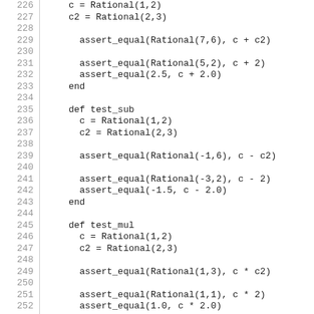Code listing lines 226-256 showing Ruby test methods for Rational arithmetic (add, sub, mul, div)